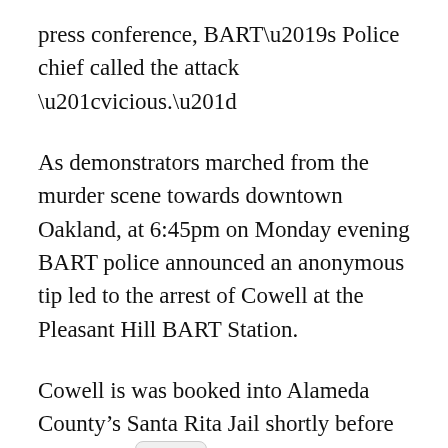press conference, BART’s Police chief called the attack “vicious.”
As demonstrators marched from the murder scene towards downtown Oakland, at 6:45pm on Monday evening BART police announced an anonymous tip led to the arrest of Cowell at the Pleasant Hill BART Station.
Cowell is was booked into Alameda County’s Santa Rita Jail shortly before midnight.
The vigil began near the MacArthur BART gates with chants of “No Justice! No Peace!” and